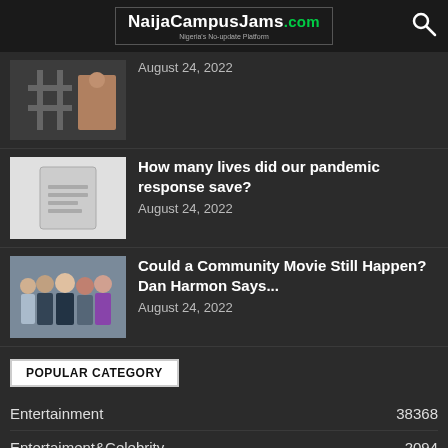NaijaCampusJams.com — Nigeria's No-update Platform
August 24, 2022
How many lives did our pandemic response save?
August 24, 2022
Could a Community Movie Still Happen? Dan Harmon Says...
August 24, 2022
POPULAR CATEGORY
Entertainment  38368
Entertaiment&Celebrity  2094
Leaked Videos  548